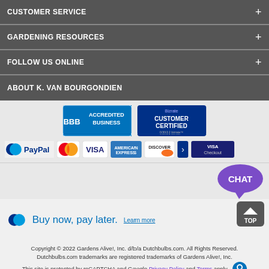CUSTOMER SERVICE
GARDENING RESOURCES
FOLLOW US ONLINE
ABOUT K. VAN BOURGONDIEN
[Figure (logo): BBB Accredited Business and Bizrate Customer Certified badges]
[Figure (logo): Payment method logos: PayPal, MasterCard, Visa, American Express, Discover, Visa Checkout]
[Figure (other): Purple chat bubble with CHAT text]
Buy now, pay later. Learn more
Copyright © 2022 Gardens Alive!, Inc. d/b/a Dutchbulbs.com. All Rights Reserved. Dutchbulbs.com trademarks are registered trademarks of Gardens Alive!, Inc. This site is protected by reCAPTCHA and Google Privacy Policy and Terms apply.